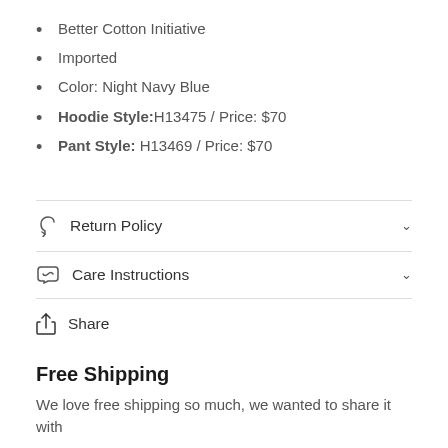Better Cotton Initiative
Imported
Color: Night Navy Blue
Hoodie Style: H13475 / Price: $70
Pant Style: H13469 / Price: $70
Return Policy
Care Instructions
Share
Free Shipping
We love free shipping so much, we wanted to share it with